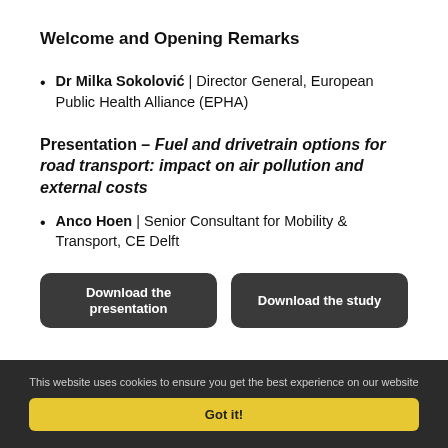Welcome and Opening Remarks
Dr Milka Sokolović | Director General, European Public Health Alliance (EPHA)
Presentation – Fuel and drivetrain options for road transport: impact on air pollution and external costs
Anco Hoen | Senior Consultant for Mobility & Transport, CE Delft
Download the presentation
Download the study
This website uses cookies to ensure you get the best experience on our website
Got it!